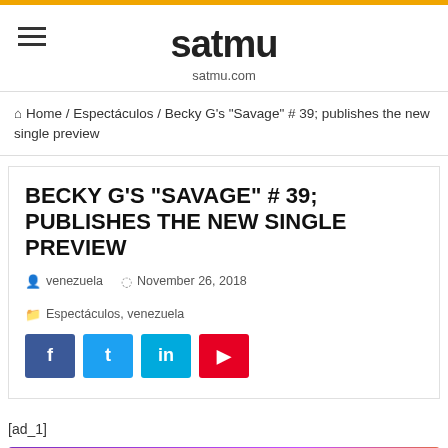satmu / satmu.com
Home / Espectáculos / Becky G's "Savage" # 39; publishes the new single preview
BECKY G'S "SAVAGE" # 39; PUBLISHES THE NEW SINGLE PREVIEW
venezuela  November 26, 2018  Espectáculos, venezuela
[ad_1]
[Figure (photo): Bottom banner advertisement with purple/orange gradient background and text '¿Quieres ver cosas más cool? ¡Síguenos en...']